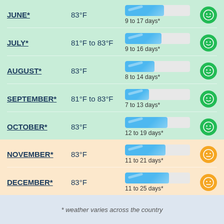JUNE* 83°F 9 to 17 days* [good rating]
JULY* 81°F to 83°F 9 to 16 days* [good rating]
AUGUST* 83°F 8 to 14 days* [good rating]
SEPTEMBER* 81°F to 83°F 7 to 13 days* [good rating]
OCTOBER* 83°F 12 to 19 days* [good rating]
NOVEMBER* 83°F 11 to 21 days* [average rating]
DECEMBER* 83°F 11 to 25 days* [average rating]
* weather varies across the country